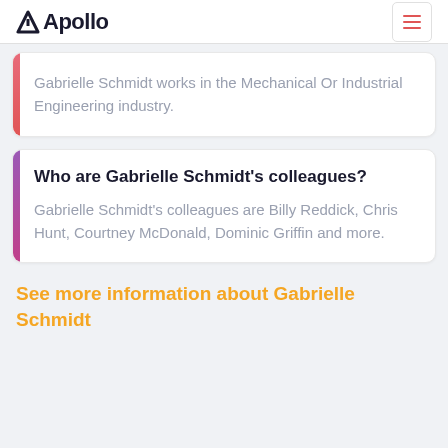Apollo
Gabrielle Schmidt works in the Mechanical Or Industrial Engineering industry.
Who are Gabrielle Schmidt's colleagues?
Gabrielle Schmidt's colleagues are Billy Reddick, Chris Hunt, Courtney McDonald, Dominic Griffin and more.
See more information about Gabrielle Schmidt